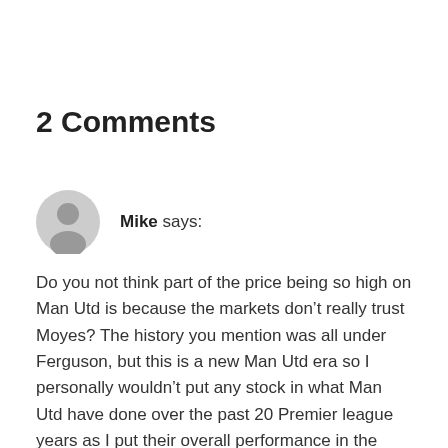2 Comments
Mike says:
Do you not think part of the price being so high on Man Utd is because the markets don’t really trust Moyes? The history you mention was all under Ferguson, but this is a new Man Utd era so I personally wouldn’t put any stock in what Man Utd have done over the past 20 Premier league years as I put their overall performance in the league down to their preparation under Ferguson. They